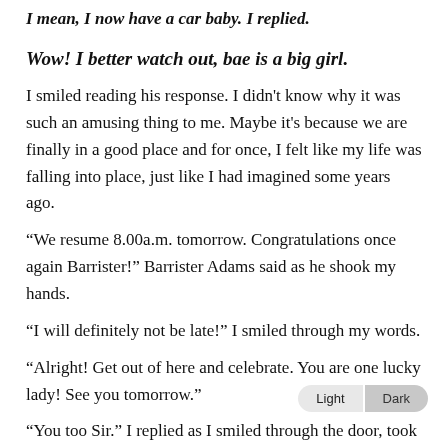I mean, I now have a car baby. I replied.
Wow! I better watch out, bae is a big girl.
I smiled reading his response. I didn't know why it was such an amusing thing to me. Maybe it's because we are finally in a good place and for once, I felt like my life was falling into place, just like I had imagined some years ago.
“We resume 8.00a.m. tomorrow. Congratulations once again Barrister!” Barrister Adams said as he shook my hands.
“I will definitely not be late!” I smiled through my words.
“Alright! Get out of here and celebrate. You are one lucky lady! See you tomorrow.”
“You too Sir.” I replied as I smiled through the door, took a